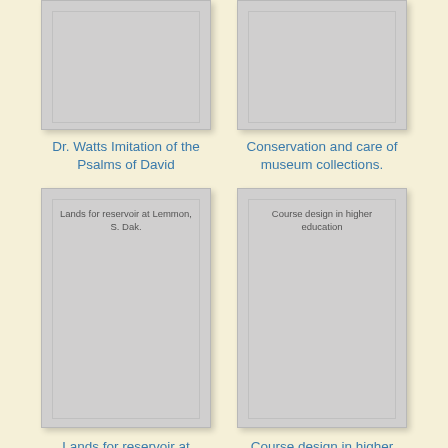[Figure (illustration): Book cover placeholder for Dr. Watts Imitation of the Psalms of David]
Dr. Watts Imitation of the Psalms of David
[Figure (illustration): Book cover placeholder for Conservation and care of museum collections.]
Conservation and care of museum collections.
[Figure (illustration): Book cover placeholder for Lands for reservoir at Lemmon, S. Dak.]
Lands for reservoir at Lemmon, S. Dak.
[Figure (illustration): Book cover placeholder for Course design in higher education]
Course design in higher education
[Figure (illustration): Book cover placeholder (partial, bottom of page)]
[Figure (illustration): Book cover placeholder for Art, mind, and brain (partial, bottom of page)]
Art, mind, and brain